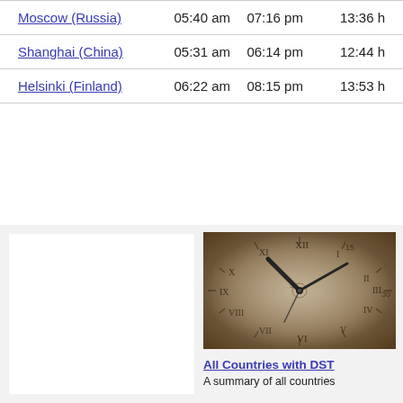| City | Sunrise | Sunset | Daylight |
| --- | --- | --- | --- |
| Moscow (Russia) | 05:40 am | 07:16 pm | 13:36 h |
| Shanghai (China) | 05:31 am | 06:14 pm | 12:44 h |
| Helsinki (Finland) | 06:22 am | 08:15 pm | 13:53 h |
[Figure (photo): Close-up of an antique clock face with Roman numerals and black hands, sepia-toned]
All Countries with DST
A summary of all countries